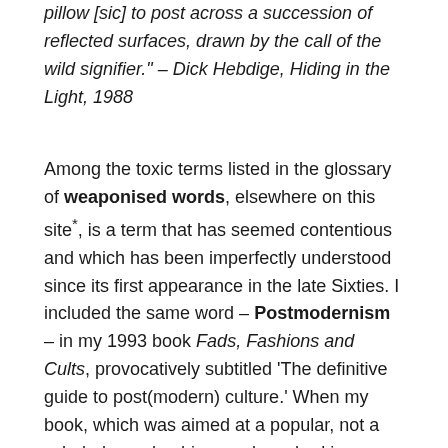pillow [sic] to post across a succession of reflected surfaces, drawn by the call of the wild signifier." – Dick Hebdige, Hiding in the Light, 1988
Among the toxic terms listed in the glossary of weaponised words, elsewhere on this site*, is a term that has seemed contentious and which has been imperfectly understood since its first appearance in the late Sixties. I included the same word – Postmodernism – in my 1993 book Fads, Fashions and Cults, provocatively subtitled 'The definitive guide to post(modern) culture.' When my book, which was aimed at a popular, not a scholarly readership, was launched in Slovenia and featured on national television the Slovene philosopher and critical theorist Mladen Dolar dismissed it as atheoretical and trivial, two other resonant terms which I was not sure whether to resent or to celebrate at the